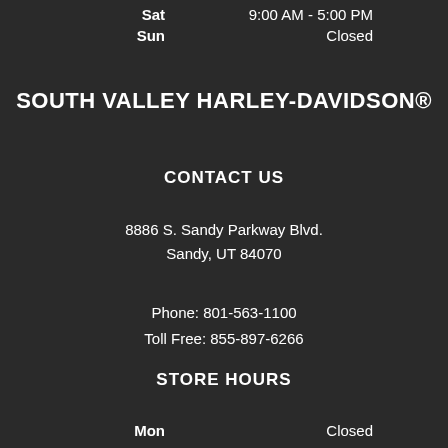Sat  9:00 AM - 5:00 PM
Sun  Closed
SOUTH VALLEY HARLEY-DAVIDSON®
CONTACT US
8886 S. Sandy Parkway Blvd.
Sandy, UT 84070
Phone: 801-563-1100
Toll Free: 855-897-6266
STORE HOURS
Mon  Closed